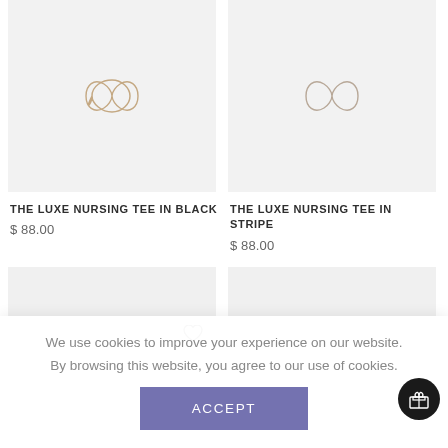[Figure (photo): Product placeholder image with logo mark for The Luxe Nursing Tee in Black]
[Figure (photo): Product placeholder image with logo mark for The Luxe Nursing Tee in Stripe]
THE LUXE NURSING TEE IN BLACK
$ 88.00
THE LUXE NURSING TEE IN STRIPE
$ 88.00
[Figure (photo): Second row product placeholder image left, with wishlist heart icon]
[Figure (photo): Second row product placeholder image right]
We use cookies to improve your experience on our website. By browsing this website, you agree to our use of cookies.
ACCEPT